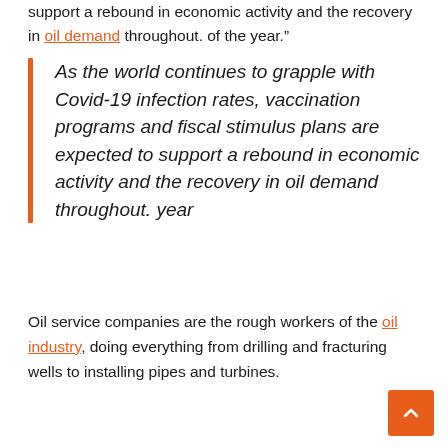support a rebound in economic activity and the recovery in oil demand throughout. of the year.”
As the world continues to grapple with Covid-19 infection rates, vaccination programs and fiscal stimulus plans are expected to support a rebound in economic activity and the recovery in oil demand throughout. year
Oil service companies are the rough workers of the oil industry, doing everything from drilling and fracturing wells to installing pipes and turbines.